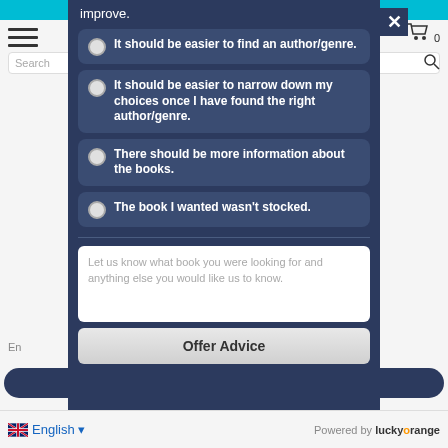improve.
It should be easier to find an author/genre.
It should be easier to narrow down my choices once I have found the right author/genre.
There should be more information about the books.
The book I wanted wasn't stocked.
Let us know what book you were looking for and anything else you would like us to know.
Offer Advice
English
Powered by luckyorange